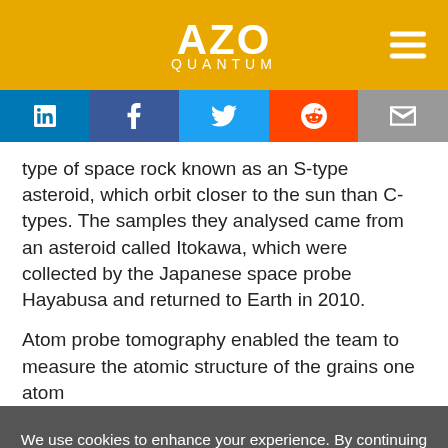AZO QUANTUM
type of space rock known as an S-type asteroid, which orbit closer to the sun than C-types. The samples they analysed came from an asteroid called Itokawa, which were collected by the Japanese space probe Hayabusa and returned to Earth in 2010.
Atom probe tomography enabled the team to measure the atomic structure of the grains one atom
We use cookies to enhance your experience. By continuing to browse this site you agree to our use of cookies. More info.
✔ Accept
Cookie Settings